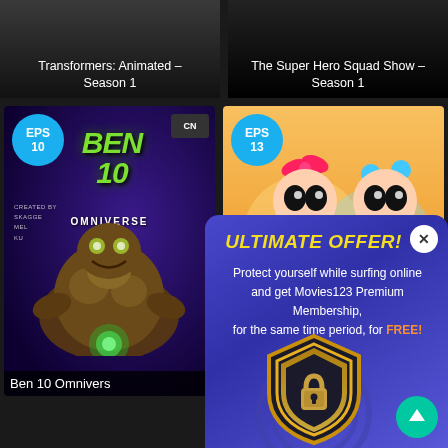[Figure (screenshot): Screenshot of a streaming website showing TV show thumbnails: Transformers Animated Season 1, The Super Hero Squad Show Season 1, Ben 10 Omniverse (EPS 10), and Powerpuff Girls (EPS 13), with a popup ad overlay saying ULTIMATE OFFER! promoting Movies123 Premium Membership for free with a VPN.]
Transformers: Animated - Season 1
The Super Hero Squad Show - Season 1
EPS 10
EPS 13
Ben 10 Omnivers
ULTIMATE OFFER!
Protect yourself while surfing online and get Movies123 Premium Membership, for the same time period, for FREE!